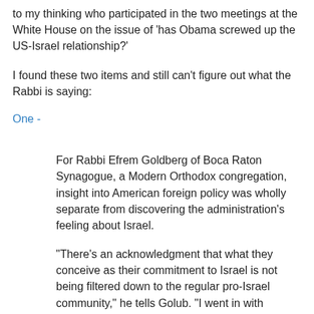to my thinking who participated in the two meetings at the White House on the issue of 'has Obama screwed up the US-Israel relationship?'
I found these two items and still can't figure out what the Rabbi is saying:
One -
For Rabbi Efrem Goldberg of Boca Raton Synagogue, a Modern Orthodox congregation, insight into American foreign policy was wholly separate from discovering the administration's feeling about Israel.
"There's an acknowledgment that what they conceive as their commitment to Israel is not being filtered down to the regular pro-Israel community," he tells Golub. "I went in with anxieties and with concerns and I left with anxieties and concerns, but I gained a